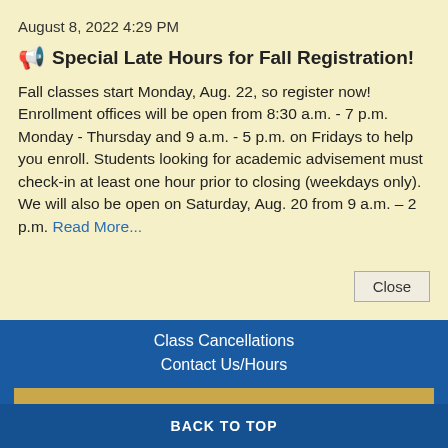August 8, 2022 4:29 PM
Special Late Hours for Fall Registration!
Fall classes start Monday, Aug. 22, so register now! Enrollment offices will be open from 8:30 a.m. - 7 p.m. Monday - Thursday and 9 a.m. - 5 p.m. on Fridays to help you enroll. Students looking for academic advisement must check-in at least one hour prior to closing (weekdays only). We will also be open on Saturday, Aug. 20 from 9 a.m. – 2 p.m. Read More...
Close
Class Cancellations
Contact Us/Hours
myDCC/Blackboard
BACK TO TOP